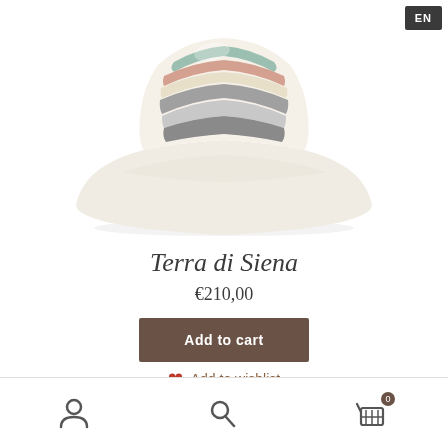[Figure (photo): A wide-brimmed straw sun hat with multicolored horizontal stripes (mint, peach, gray, cream) around the crown, flared cream/white brim, photographed on white background.]
Terra di Siena
€210,00
Add to cart
Add to wishlist